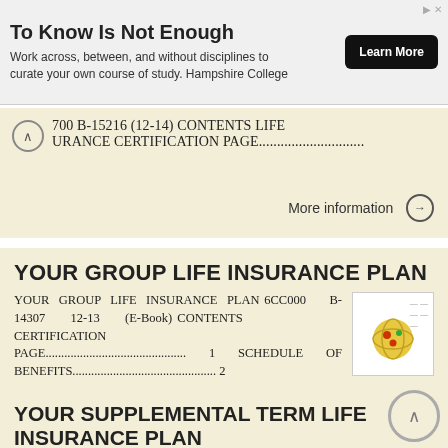[Figure (other): Advertisement banner: 'To Know Is Not Enough' with Hampshire College text and Learn More button]
700 B-15216 (12-14) CONTENTS LIFE URANCE CERTIFICATION PAGE.......................
More information →
YOUR GROUP LIFE INSURANCE PLAN
YOUR GROUP LIFE INSURANCE PLAN 6CC000 B-14307 12-13 (E-Book) CONTENTS CERTIFICATION PAGE........................................ 1 SCHEDULE OF BENEFITS.......................................... 2
More information →
YOUR SUPPLEMENTAL TERM LIFE INSURANCE PLAN